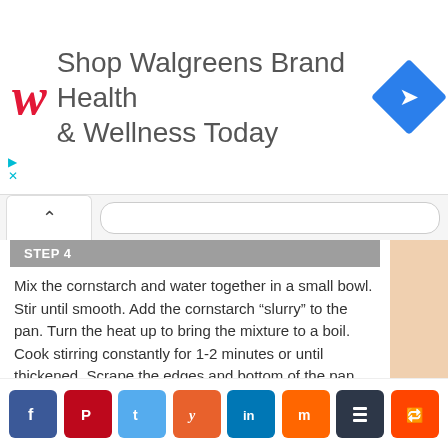[Figure (screenshot): Walgreens Brand Health & Wellness advertisement banner with red stylized W logo and blue diamond navigation icon]
STEP 4
Mix the cornstarch and water together in a small bowl. Stir until smooth. Add the cornstarch “slurry” to the pan. Turn the heat up to bring the mixture to a boil. Cook stirring constantly for 1-2 minutes or until thickened. Scrape the edges and bottom of the pan while stirring to loosen any brown bits remaining from the meat.
STEP 5
Spoon the apple cider gravy over the pork chops, garnish with fresh parsley. Enjoy!
[Figure (screenshot): Social sharing buttons row: Facebook, Pinterest, Twitter, Yummly, LinkedIn, Mix, Buffer, Reddit]